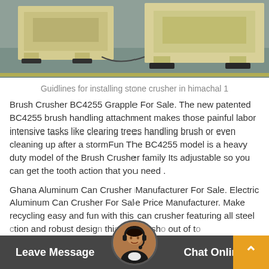[Figure (photo): Industrial stone crusher machines in beige/cream color sitting on a factory floor with gray/blue epoxy coating. Multiple crusher units visible.]
Guidlines for installing stone crusher in himachal 1
Brush Crusher BC4255 Grapple For Sale. The new patented BC4255 brush handling attachment makes those painful labor intensive tasks like clearing trees handling brush or even cleaning up after a stormFun The BC4255 model is a heavy duty model of the Brush Crusher family Its adjustable so you can get the tooth action that you need .
Ghana Aluminum Can Crusher Manufacturer For Sale. Electric Aluminum Can Crusher For Sale Price Manufacturer. Make recycling easy and fun with this can crusher featuring all steel construction and robust design this makes sho out of t
Leave Message
Chat Online